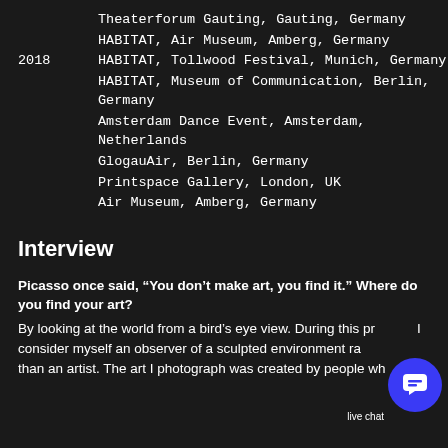Theaterforum Gauting, Gauting, Germany
HABITAT, Air Museum, Amberg, Germany
2018 — HABITAT, Tollwood Festival, Munich, Germany
HABITAT, Museum of Communication, Berlin, Germany
Amsterdam Dance Event, Amsterdam, Netherlands
GlogauAir, Berlin, Germany
Printspace Gallery, London, UK
Air Museum, Amberg, Germany
Interview
Picasso once said, “You don’t make art, you find it.” Where do you find your art?
By looking at the world from a bird’s eye view. During this process, I consider myself an observer of a sculpted environment rather than an artist. The art I photograph was created by people who,